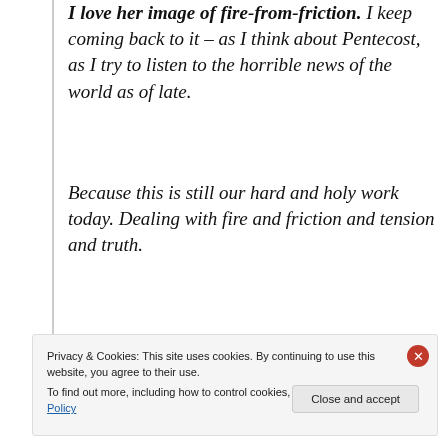I love her image of fire-from-friction. I keep coming back to it – as I think about Pentecost, as I try to listen to the horrible news of the world as of late.
Because this is still our hard and holy work today. Dealing with fire and friction and tension and truth.
Learning to speak new languages. Learning to speak each other's languages.
Privacy & Cookies: This site uses cookies. By continuing to use this website, you agree to their use.
To find out more, including how to control cookies, see here: Cookie Policy